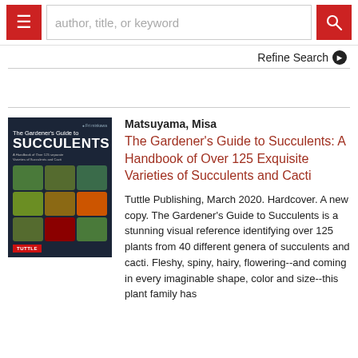author, title, or keyword
Refine Search
[Figure (photo): Book cover of The Gardener's Guide to Succulents featuring succulent plant illustrations on a dark background with red Tuttle publisher badge]
Matsuyama, Misa
The Gardener's Guide to Succulents: A Handbook of Over 125 Exquisite Varieties of Succulents and Cacti
Tuttle Publishing, March 2020. Hardcover. A new copy. The Gardener's Guide to Succulents is a stunning visual reference identifying over 125 plants from 40 different genera of succulents and cacti. Fleshy, spiny, hairy, flowering--and coming in every imaginable shape, color and size--this plant family has